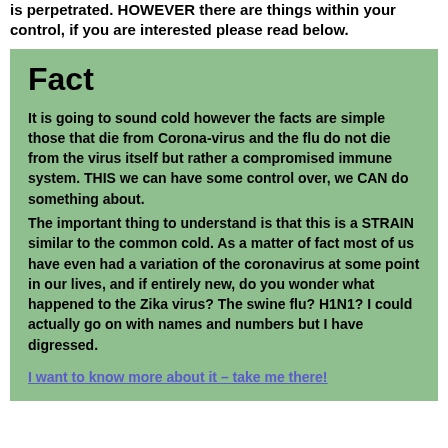is perpetrated. HOWEVER there are things within your control, if you are interested please read below.
Fact
It is going to sound cold however the facts are simple those that die from Corona-virus and the flu do not die from the virus itself but rather a compromised immune system. THIS we can have some control over, we CAN do something about.
The important thing to understand is that this is a STRAIN similar to the common cold. As a matter of fact most of us have even had a variation of the coronavirus at some point in our lives, and if entirely new, do you wonder what happened to the Zika virus? The swine flu? H1N1? I could actually go on with names and numbers but I have digressed.
I want to know more about it – take me there!